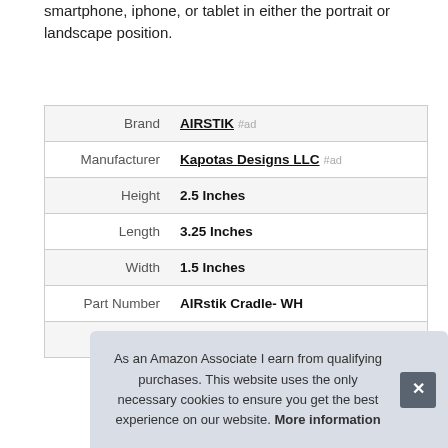smartphone, iphone, or tablet in either the portrait or landscape position.
|  |  |
| --- | --- |
| Brand | AIRSTIK #ad |
| Manufacturer | Kapotas Designs LLC #ad |
| Height | 2.5 Inches |
| Length | 3.25 Inches |
| Width | 1.5 Inches |
| Part Number | AIRstik Cradle- WH |
| Model | AIRstik Cradle- WH |
As an Amazon Associate I earn from qualifying purchases. This website uses the only necessary cookies to ensure you get the best experience on our website. More information